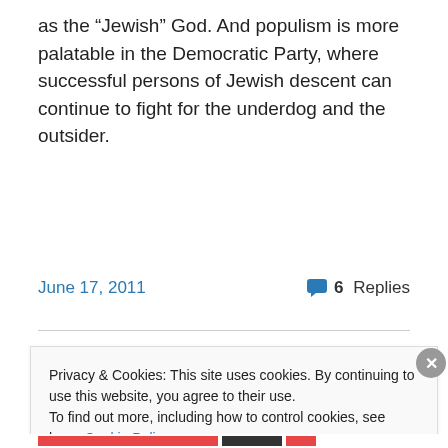as the “Jewish” God. And populism is more palatable in the Democratic Party, where successful persons of Jewish descent can continue to fight for the underdog and the outsider.
June 17, 2011
6 Replies
Search
Privacy & Cookies: This site uses cookies. By continuing to use this website, you agree to their use.
To find out more, including how to control cookies, see here: Cookie Policy
Close and accept